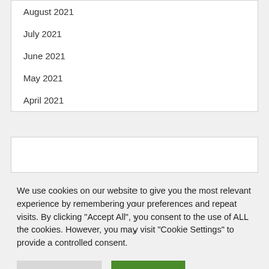August 2021
July 2021
June 2021
May 2021
April 2021
We use cookies on our website to give you the most relevant experience by remembering your preferences and repeat visits. By clicking "Accept All", you consent to the use of ALL the cookies. However, you may visit "Cookie Settings" to provide a controlled consent.
Cookie Settings
Accept All